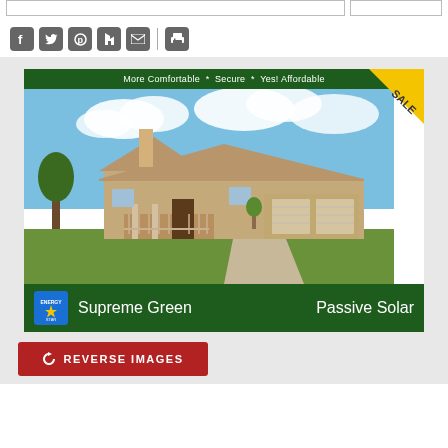[Figure (other): Social media sharing icons: Facebook, Twitter, Pinterest, Houzz, Email, Print]
[Figure (photo): Real estate listing card showing a ranch-style house with 'More Comfortable * Secure * Yes! Affordable' header banner, 'SALE' badge in top right corner, and 'Supreme Green / Passive Solar' footer banner with Energy Star logo]
[Figure (other): Red 'REVERSE IMAGES' button with circular arrow icon]